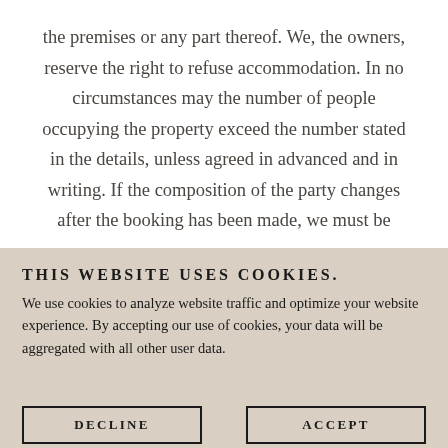the premises or any part thereof. We, the owners, reserve the right to refuse accommodation. In no circumstances may the number of people occupying the property exceed the number stated in the details, unless agreed in advanced and in writing. If the composition of the party changes after the booking has been made, we must be
THIS WEBSITE USES COOKIES.
We use cookies to analyze website traffic and optimize your website experience. By accepting our use of cookies, your data will be aggregated with all other user data.
DECLINE
ACCEPT